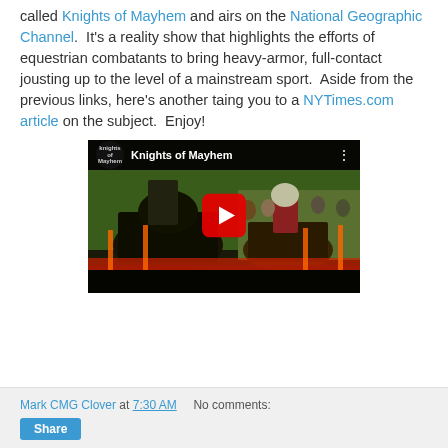called Knights of Mayhem and airs on the National Geographic Channel. It's a reality show that highlights the efforts of equestrian combatants to bring heavy-armor, full-contact jousting up to the level of a mainstream sport. Aside from the previous links, here's another taing you to a NYTimes.com article on the subject. Enjoy!
[Figure (screenshot): Embedded YouTube video thumbnail showing Knights of Mayhem jousting scene with play button overlay]
Mark CMG Clover at 7:30 AM   No comments: